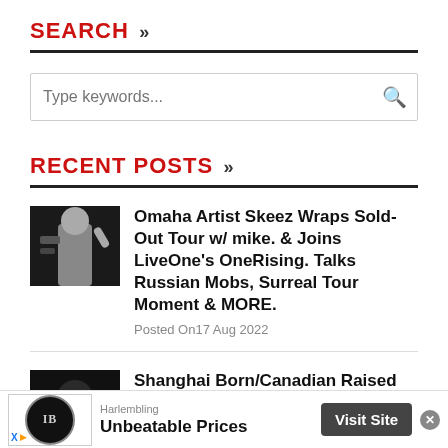SEARCH »
Type keywords...
RECENT POSTS »
Omaha Artist Skeez Wraps Sold-Out Tour w/ mike. & Joins LiveOne's OneRising. Talks Russian Mobs, Surreal Tour Moment & MORE. Posted On17 Aug 2022
Shanghai Born/Canadian Raised Artist PIAO Shares Debut Single,
[Figure (photo): Thumbnail photo of artist performing - person in white shirt]
[Figure (photo): Thumbnail photo - dark background with figure]
[Figure (photo): Advertisement banner - Harlembling, Unbeatable Prices, Visit Site]